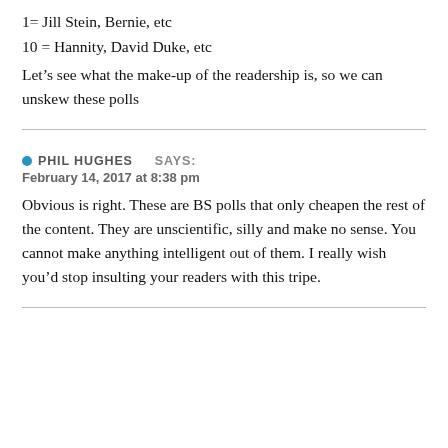1= Jill Stein, Bernie, etc
10 = Hannity, David Duke, etc
Let’s see what the make-up of the readership is, so we can unskew these polls
PHIL HUGHES   SAYS:
February 14, 2017 at 8:38 pm
Obvious is right. These are BS polls that only cheapen the rest of the content. They are unscientific, silly and make no sense. You cannot make anything intelligent out of them. I really wish you’d stop insulting your readers with this tripe.